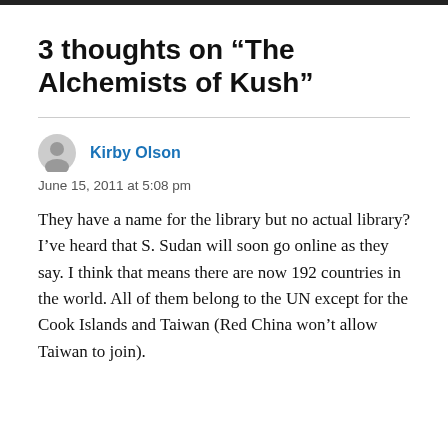3 thoughts on “The Alchemists of Kush”
Kirby Olson
June 15, 2011 at 5:08 pm
They have a name for the library but no actual library? I’ve heard that S. Sudan will soon go online as they say. I think that means there are now 192 countries in the world. All of them belong to the UN except for the Cook Islands and Taiwan (Red China won’t allow Taiwan to join).